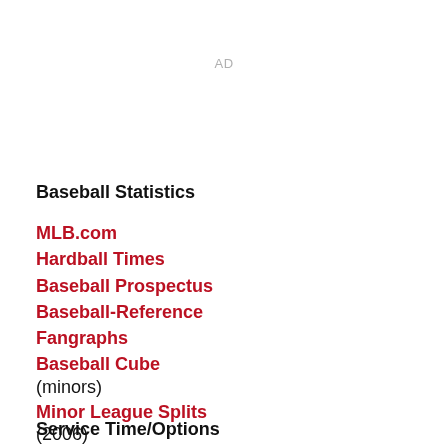AD
Baseball Statistics
MLB.com
Hardball Times
Baseball Prospectus
Baseball-Reference
Fangraphs
Baseball Cube (minors)
Minor League Splits (2006)
Service Time/Options